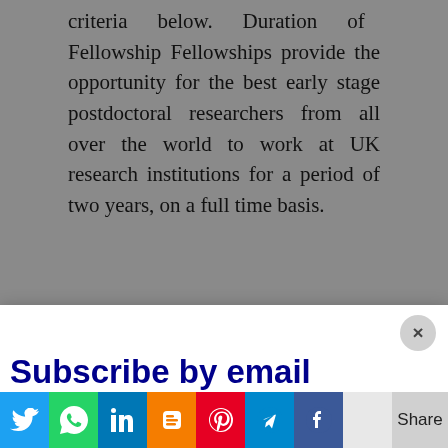criteria below. Duration of Fellowship Fellowships provide the opportunity for the best early stage postdoctoral researchers from all over the world to work at UK research institutions for a period of two years, on a full time basis.
[Figure (infographic): Popup subscribe widget with 'Subscribe by email' in dark blue bold, 'Subscribe by Telegram' in red bold, and a Twitter Follow @infodolpages button in blue, with a close (x) button in the top right corner.]
found here.
You should also be aware that an application is made jointly by you and your proposed UK Sponsor. Please note that no help in finding a UK
[Figure (infographic): Social sharing bar at the bottom with Twitter (blue bird), WhatsApp (green), LinkedIn (blue), Blogger (orange), Pinterest (red), Telegram (blue), Facebook (blue), a white box, and a Share button.]